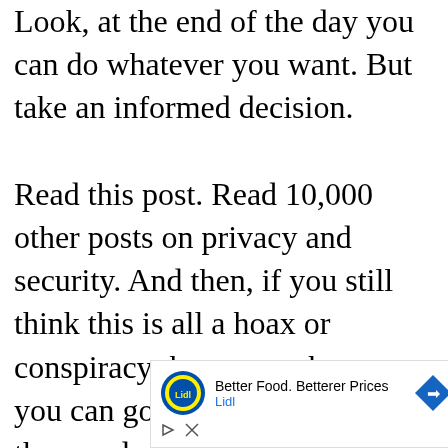Look, at the end of the day you can do whatever you want. But take an informed decision.

Read this post. Read 10,000 other posts on privacy and security. And then, if you still think this is all a hoax or conspiracy theory or whatever, you can go against everything thousands
[Figure (other): Advertisement banner for Lidl: 'Better Food. Betterer Prices' with Lidl logo and a blue navigation arrow icon. Below are close/skip ad control icons.]